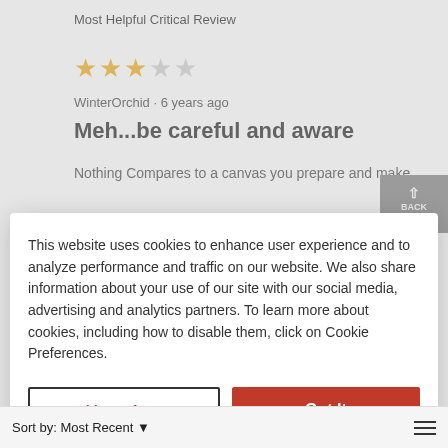Most Helpful Critical Review
★★★☆☆ WinterOrchid · 6 years ago
Meh...be careful and aware
Nothing Compares to a canvas you prepare and make
This website uses cookies to enhance user experience and to analyze performance and traffic on our website. We also share information about your use of our site with our social media, advertising and analytics partners. To learn more about cookies, including how to disable them, click on Cookie Preferences.
Cookie Preferences
Got It
Sort by: Most Recent ▼